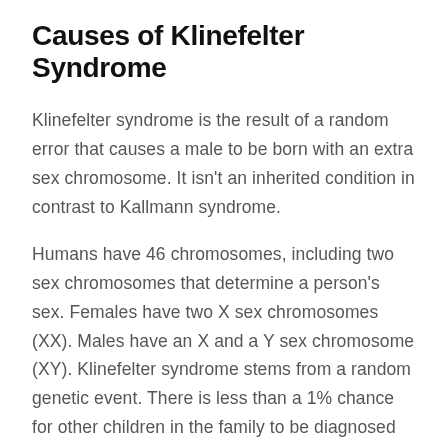Causes of Klinefelter Syndrome
Klinefelter syndrome is the result of a random error that causes a male to be born with an extra sex chromosome. It isn't an inherited condition in contrast to Kallmann syndrome.
Humans have 46 chromosomes, including two sex chromosomes that determine a person's sex. Females have two X sex chromosomes (XX). Males have an X and a Y sex chromosome (XY). Klinefelter syndrome stems from a random genetic event. There is less than a 1% chance for other children in the family to be diagnosed with